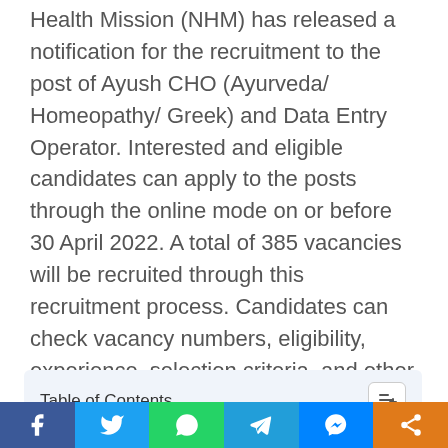Health Mission (NHM) has released a notification for the recruitment to the post of Ayush CHO (Ayurveda/ Homeopathy/ Greek) and Data Entry Operator. Interested and eligible candidates can apply to the posts through the online mode on or before 30 April 2022. A total of 385 vacancies will be recruited through this recruitment process. Candidates can check vacancy numbers, eligibility, experience, selection criteria, and other details here.
Table of Contents
1. Important Dates
2. NHM MP CHO Job Summary
3. NHM MP CHO Recruitment 2022 Vacancy Details
Social share bar: Facebook, Twitter, WhatsApp, Telegram, Messenger, Share